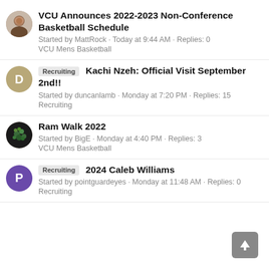VCU Announces 2022-2023 Non-Conference Basketball Schedule
Started by MattRock · Today at 9:44 AM · Replies: 0
VCU Mens Basketball
Recruiting  Kachi Nzeh: Official Visit September 2nd!!
Started by duncanlamb · Monday at 7:20 PM · Replies: 15
Recruiting
Ram Walk 2022
Started by BigE · Monday at 4:40 PM · Replies: 3
VCU Mens Basketball
Recruiting  2024 Caleb Williams
Started by pointguardeyes · Monday at 11:48 AM · Replies: 0
Recruiting